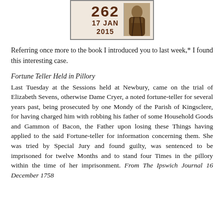[Figure (logo): Sepia Saturday banner logo with number 262, date 17 Jan 2015, and a vintage sepia photograph of a man]
Referring once more to the book I introduced you to last week,* I found this interesting case.
Fortune Teller Held in Pillory
Last Tuesday at the Sessions held at Newbury, came on the trial of Elizabeth Sevens, otherwise Dame Cryer, a noted fortune-teller for several years past, being prosecuted by one Mondy of the Parish of Kingsclere, for having charged him with robbing his father of some Household Goods and Gammon of Bacon, the Father upon losing these Things having applied to the said Fortune-teller for information concerning them. She was tried by Special Jury and found guilty, was sentenced to be imprisoned for twelve Months and to stand four Times in the pillory within the time of her imprisonment. From The Ipswich Journal 16 December 1758